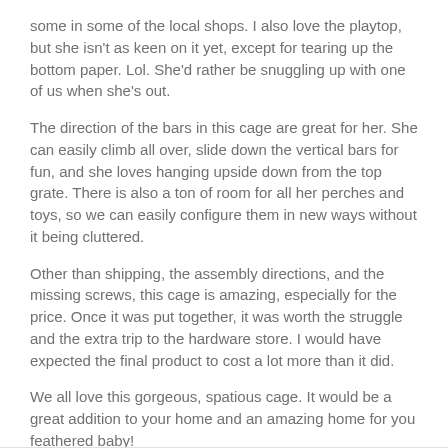some in some of the local shops. I also love the playtop, but she isn't as keen on it yet, except for tearing up the bottom paper. Lol. She'd rather be snuggling up with one of us when she's out.
The direction of the bars in this cage are great for her. She can easily climb all over, slide down the vertical bars for fun, and she loves hanging upside down from the top grate. There is also a ton of room for all her perches and toys, so we can easily configure them in new ways without it being cluttered.
Other than shipping, the assembly directions, and the missing screws, this cage is amazing, especially for the price. Once it was put together, it was worth the struggle and the extra trip to the hardware store. I would have expected the final product to cost a lot more than it did.
We all love this gorgeous, spatious cage. It would be a great addition to your home and an amazing home for you feathered baby!